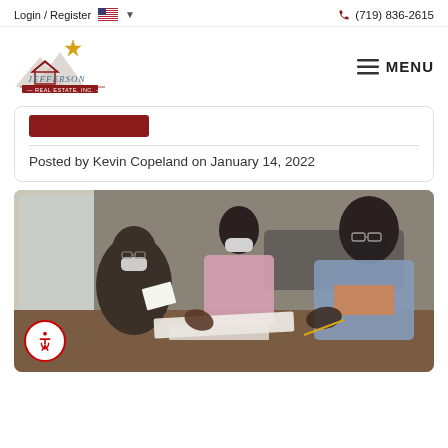Login / Register  🇺🇸 ▾   📞 (719) 836-2615
[Figure (logo): Jefferson Real Estate, Inc. logo with star and house silhouette]
≡ MENU
Posted by Kevin Copeland on January 14, 2022
[Figure (photo): Three people wearing face masks sitting at a table reviewing documents, likely a real estate consultation]